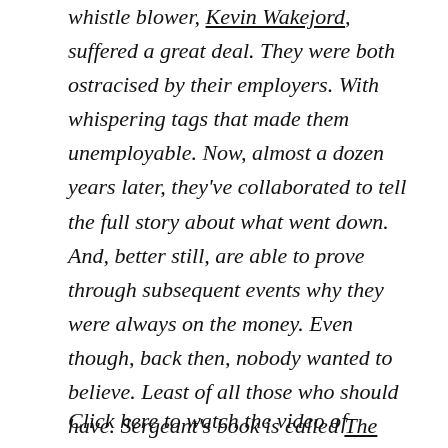whistle blower, Kevin Wakejord, suffered a great deal. They were both ostracised by their employers. With whispering tags that made them unemployable. Now, almost a dozen years later, they've collaborated to tell the full story about what went down. And, better still, are able to prove through subsequent events why they were always on the money. Even though, back then, nobody wanted to believe. Least of all those who should have. Sergeant's book is called The Assault on the Rand. Here's the video and transcript of today's interview on CNBC's Power Lunch. – AH
Click here to watch the video of...